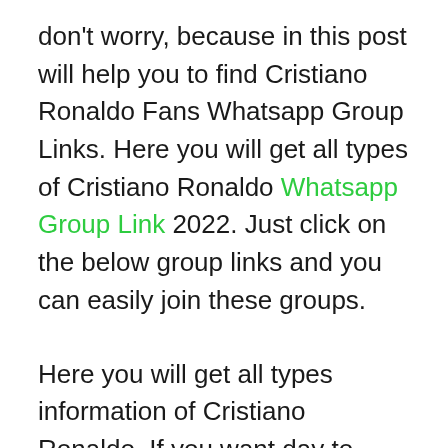don't worry, because in this post will help you to find Cristiano Ronaldo Fans Whatsapp Group Links. Here you will get all types of Cristiano Ronaldo Whatsapp Group Link 2022. Just click on the below group links and you can easily join these groups.
Here you will get all types information of Cristiano Ronaldo. If you want day to